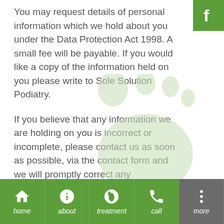[Figure (logo): Facebook icon - green square with white 'f' in top right corner]
You may request details of personal information which we hold about you under the Data Protection Act 1998. A small fee will be payable. If you would like a copy of the information held on you please write to Sole Solution Podiatry.
If you believe that any information we are holding on you is incorrect or incomplete, please contact us as soon as possible, via the contact form and we will promptly correct any information found to be incorrect.
[Figure (illustration): Light green footprint watermark illustration in background]
home | about | treatment | call | more